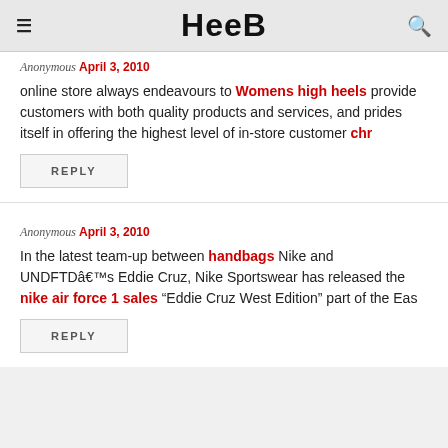HEEB
Anonymous April 3, 2010
online store always endeavours to Womens high heels provide customers with both quality products and services, and prides itself in offering the highest level of in-store customer chr
REPLY
Anonymous April 3, 2010
In the latest team-up between handbags Nike and UNDFTDâ€™s Eddie Cruz, Nike Sportswear has released the nike air force 1 sales “Eddie Cruz West Edition” part of the Eas
REPLY